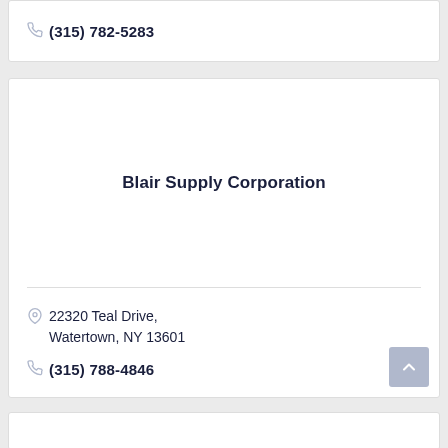(315) 782-5283
Blair Supply Corporation
22320 Teal Drive, Watertown, NY 13601
(315) 788-4846